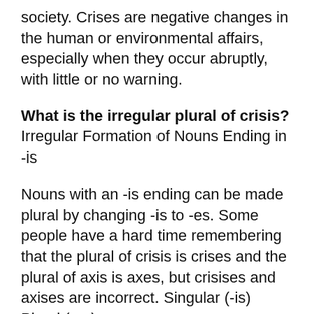society. Crises are negative changes in the human or environmental affairs, especially when they occur abruptly, with little or no warning.
What is the irregular plural of crisis? Irregular Formation of Nouns Ending in -is
Nouns with an -is ending can be made plural by changing -is to -es. Some people have a hard time remembering that the plural of crisis is crises and the plural of axis is axes, but crisises and axises are incorrect. Singular (-is) Plural (-es)
How many types of crisis are there? Lists out seven types of crisis: